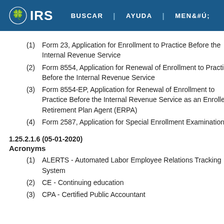IRS | BUSCAR | AYUDA | MENÚ
(1) Form 23, Application for Enrollment to Practice Before the Internal Revenue Service
(2) Form 8554, Application for Renewal of Enrollment to Practice Before the Internal Revenue Service
(3) Form 8554-EP, Application for Renewal of Enrollment to Practice Before the Internal Revenue Service as an Enrolled Retirement Plan Agent (ERPA)
(4) Form 2587, Application for Special Enrollment Examination
1.25.2.1.6 (05-01-2020)
Acronyms
(1) ALERTS - Automated Labor Employee Relations Tracking System
(2) CE - Continuing education
(3) CPA - Certified Public Accountant